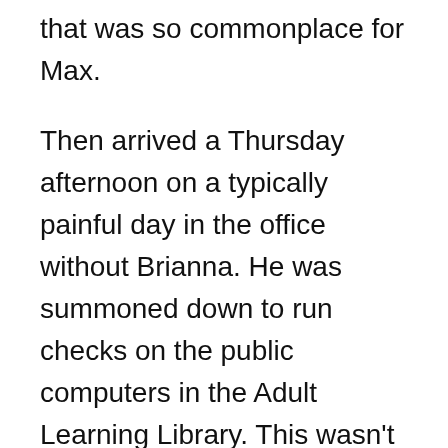that was so commonplace for Max.
Then arrived a Thursday afternoon on a typically painful day in the office without Brianna. He was summoned down to run checks on the public computers in the Adult Learning Library. This wasn't unheard of and was a good excuse to kill time with a slow, ineffective walk.
He lulled down the stairs, round the corner and crossed the building into the